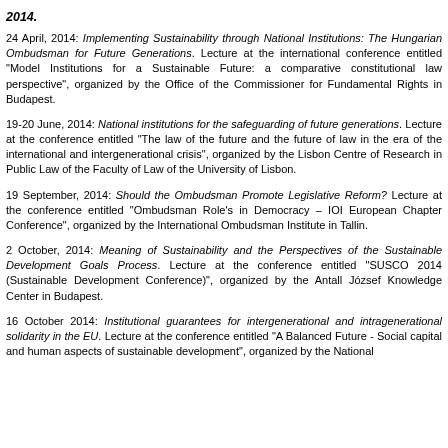2014.
24 April, 2014: Implementing Sustainability through National Institutions: The Hungarian Ombudsman for Future Generations. Lecture at the international conference entitled "Model Institutions for a Sustainable Future: a comparative constitutional law perspective", organized by the Office of the Commissioner for Fundamental Rights in Budapest.
19-20 June, 2014: National institutions for the safeguarding of future generations. Lecture at the conference entitled "The law of the future and the future of law in the era of the international and intergenerational crisis", organized by the Lisbon Centre of Research in Public Law of the Faculty of Law of the University of Lisbon.
19 September, 2014: Should the Ombudsman Promote Legislative Reform? Lecture at the conference entitled "Ombudsman Role's in Democracy – IOI European Chapter Conference", organized by the International Ombudsman Institute in Tallin.
2 October, 2014: Meaning of Sustainability and the Perspectives of the Sustainable Development Goals Process. Lecture at the conference entitled "SUSCO 2014 (Sustainable Development Conference)", organized by the Antall József Knowledge Center in Budapest.
16 October 2014: Institutional guarantees for intergenerational and intragenerational solidarity in the EU. Lecture at the conference entitled "A Balanced Future - Social capital and human aspects of sustainable development", organized by the National